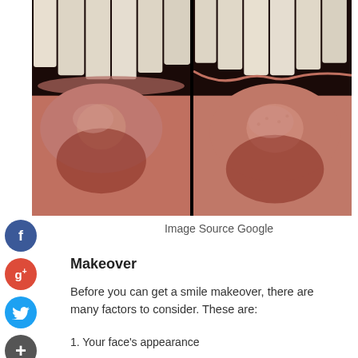[Figure (photo): Two side-by-side close-up dental photos showing upper teeth and gum tissue, displayed on a black background. Left panel shows teeth with visible gum recession; right panel shows a comparison view of similar teeth and gum area.]
Image Source Google
Makeover
Before you can get a smile makeover, there are many factors to consider. These are:
1. Your face's appearance